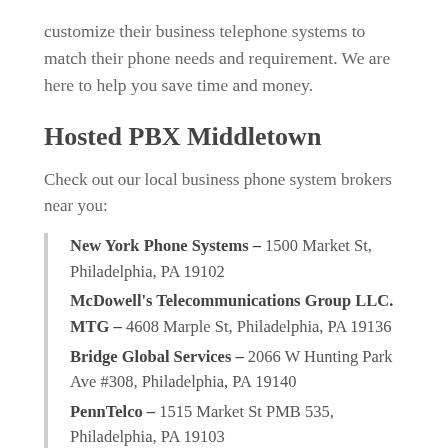customize their business telephone systems to match their phone needs and requirement. We are here to help you save time and money.
Hosted PBX Middletown
Check out our local business phone system brokers near you:
New York Phone Systems – 1500 Market St, Philadelphia, PA 19102
McDowell's Telecommunications Group LLC. MTG – 4608 Marple St, Philadelphia, PA 19136
Bridge Global Services – 2066 W Hunting Park Ave #308, Philadelphia, PA 19140
PennTelco – 1515 Market St PMB 535, Philadelphia, PA 19103
Verizon Authorized Retailer – TCC – 4040